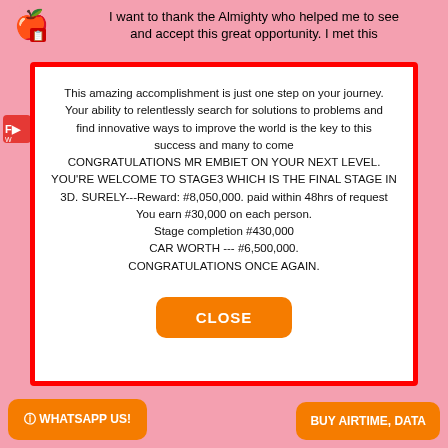I want to thank the Almighty who helped me to see and accept this great opportunity. I met this
This amazing accomplishment is just one step on your journey. Your ability to relentlessly search for solutions to problems and find innovative ways to improve the world is the key to this success and many to come CONGRATULATIONS MR EMBIET ON YOUR NEXT LEVEL. YOU'RE WELCOME TO STAGE3 WHICH IS THE FINAL STAGE IN 3D. SURELY---Reward: #8,050,000. paid within 48hrs of request You earn #30,000 on each person. Stage completion #430,000 CAR WORTH --- #6,500,000. CONGRATULATIONS ONCE AGAIN.
CLOSE
© WHATSAPP US!
BUY AIRTIME, DATA